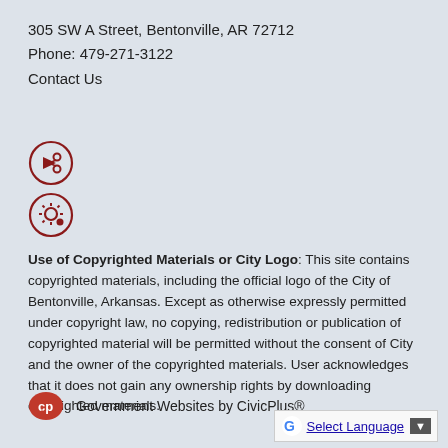305 SW A Street, Bentonville, AR 72712
Phone: 479-271-3122
Contact Us
[Figure (other): Two circular icons with dark red borders: a share/forward arrow icon and a settings/gear icon]
Use of Copyrighted Materials or City Logo: This site contains copyrighted materials, including the official logo of the City of Bentonville, Arkansas. Except as otherwise expressly permitted under copyright law, no copying, redistribution or publication of copyrighted material will be permitted without the consent of City and the owner of the copyrighted materials. User acknowledges that it does not gain any ownership rights by downloading copyrighted materials.
[Figure (logo): CivicPlus logo - red CP speech bubble icon followed by text 'Government Websites by CivicPlus®']
[Figure (other): Google Translate widget showing Google G logo, 'Select Language' link underlined, and a dropdown arrow button]